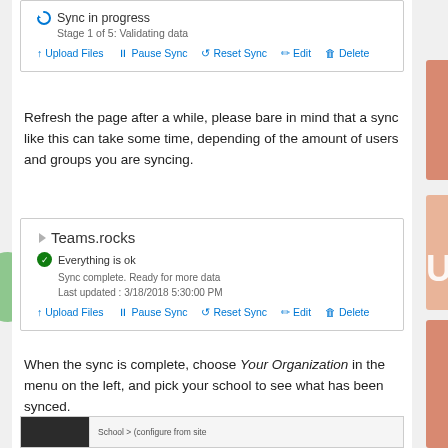[Figure (screenshot): UI card showing 'Sync in progress', Stage 1 of 5: Validating data, with actions Upload Files, Pause Sync, Reset Sync, Edit, Delete]
Refresh the page after a while, please bare in mind that a sync like this can take some time, depending of the amount of users and groups you are syncing.
[Figure (screenshot): UI card for Teams.rocks showing 'Everything is ok', Sync complete. Ready for more data, Last updated: 3/18/2018 5:30:00 PM, with actions Upload Files, Pause Sync, Reset Sync, Edit, Delete]
When the sync is complete, choose Your Organization in the menu on the left, and pick your school to see what has been synced.
[Figure (screenshot): Partial screenshot showing a dark sidebar and light content area with school/organization navigation]